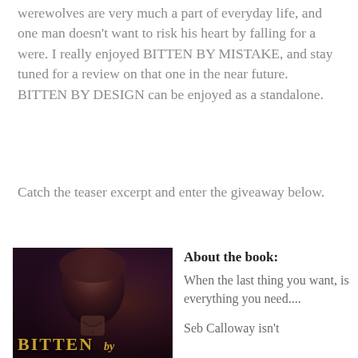werewolves are very much a part of everyday life, and one man doesn't want to risk his heart by falling for a were. I really enjoyed BITTEN BY MISTAKE, and stay tuned for a review on that one in the near future. BITTEN BY DESIGN can be enjoyed as a standalone.
Catch the teaser excerpt and enter the giveaway below.
[Figure (photo): Book cover of 'Bitten By' showing a young man with brown hair wearing a necklace, shirtless, with a warm amber/purple toned background. The title 'BITTEN BY' appears at the bottom in gold distressed lettering.]
About the book: When the last thing you want, is everything you need.... Seb Calloway isn't